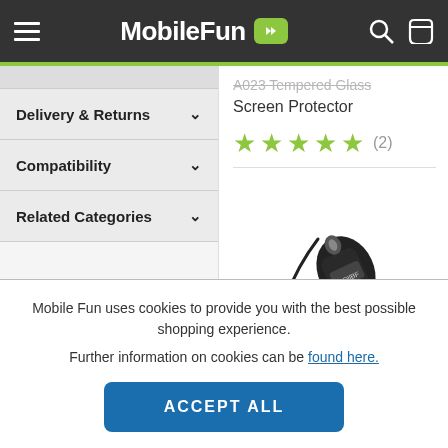MobileFun
A023 Tempered Glass Screen Protector
★★★★★ (2)
Delivery & Returns
Compatibility
Related Categories
[Figure (photo): Photo of a black stylus/pen device with lanyard and a circular inset showing a hand applying a screen protector]
Mobile Fun uses cookies to provide you with the best possible shopping experience.
Further information on cookies can be found here.
ACCEPT ALL